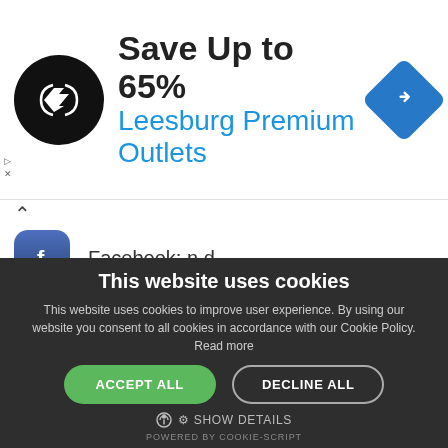[Figure (screenshot): Advertisement banner: black circular logo with double arrow symbol, text 'Save Up to 65% Leesburg Premium Outlets', blue diamond navigation icon]
Facebook: n.d.
Twitter: n.d.
LinkedIn: n.d.
This website uses cookies
This website uses cookies to improve user experience. By using our website you consent to all cookies in accordance with our Cookie Policy. Read more
ACCEPT ALL
DECLINE ALL
SHOW DETAILS
POWERED BY COOKIE-SCRIPT